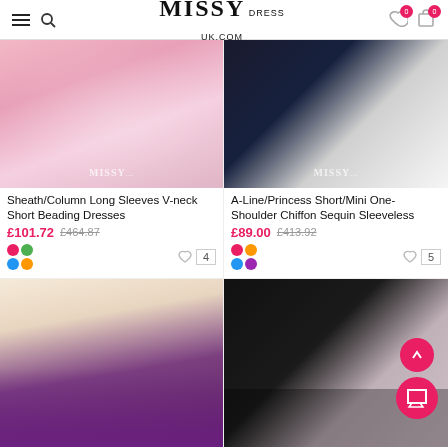MISSY DRESS UK.COM
[Figure (photo): Pink sequin/beaded short dress product photo with MISSY watermark]
Sheath/Column Long Sleeves V-neck Short Beading Dresses
£101.72  £464.87
[Figure (photo): White short one-shoulder chiffon sequin dress on black background with MISSY watermark]
A-Line/Princess Short/Mini One-Shoulder Chiffon Sequin Sleeveless
£89.00  £413.92
[Figure (photo): Purple sequin strapless dress with bow, model with long brown hair on white background]
[Figure (photo): Sequin halter mini dress on black background, model with curly hair]